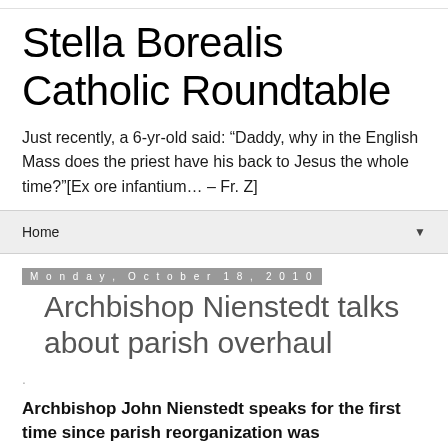Stella Borealis Catholic Roundtable
Just recently, a 6-yr-old said: “Daddy, why in the English Mass does the priest have his back to Jesus the whole time?”[Ex ore infantium… – Fr. Z]
Home
Monday, October 18, 2010
Archbishop Nienstedt talks about parish overhaul
.
Archbishop John Nienstedt speaks for the first time since parish reorganization was